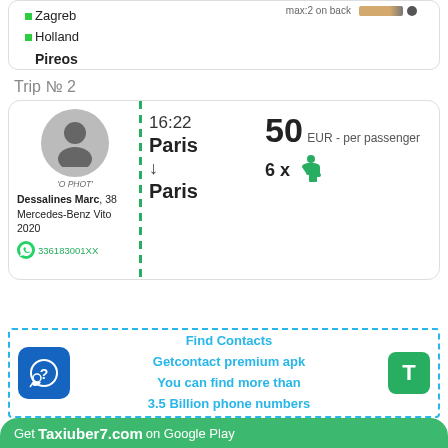Zagreb
Holland
Pireos
Trip № 2
16:22
Paris
↓
Paris
50 EUR - per passenger
6 x [seat icon]
Dessalines Marc, 38
Mercedes-Benz Vito 2020
336183001XX
Find Contacts
Getcontact premium apk
You can find more than
3.5 Billion phone numbers
Get Taxiuber7.com on Google Play